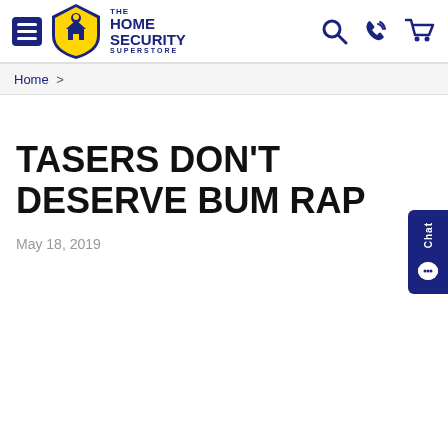The Home Security Superstore - navigation header with hamburger menu, logo, search, phone, and cart icons
Home >
TASERS DON'T DESERVE BUM RAP
May 18, 2019